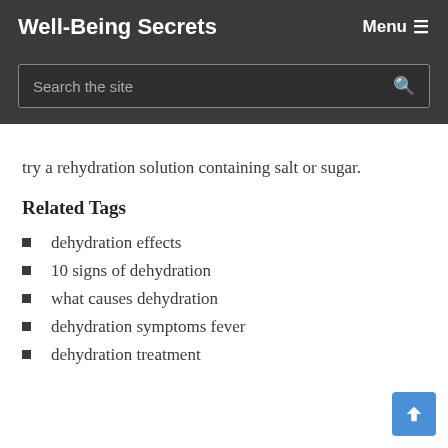Well-Being Secrets    Menu ≡
try a rehydration solution containing salt or sugar.
Related Tags
dehydration effects
10 signs of dehydration
what causes dehydration
dehydration symptoms fever
dehydration treatment